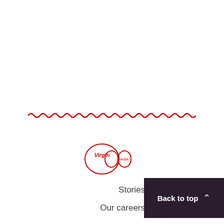[Figure (illustration): Red wavy decorative divider line spanning the width of the page]
[Figure (logo): Virgin Media logo — circular Virgin script inside oval on the left connected to an infinity symbol with 'media' text on the right, in red outline style]
Stories
Our careers
Back to top